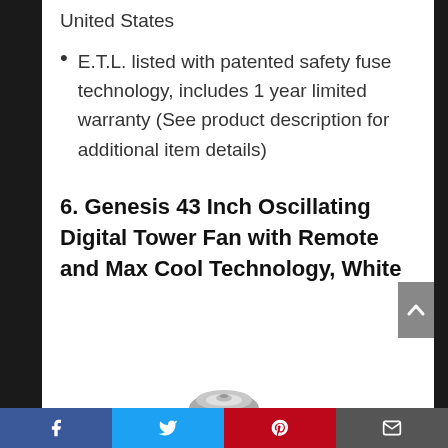United States
E.T.L. listed with patented safety fuse technology, includes 1 year limited warranty (See product description for additional item details)
6. Genesis 43 Inch Oscillating Digital Tower Fan with Remote and Max Cool Technology, White
[Figure (photo): Partial view of a circular product base (fan base) at the bottom of the page]
Facebook | Twitter | Pinterest | Email (social sharing bar)